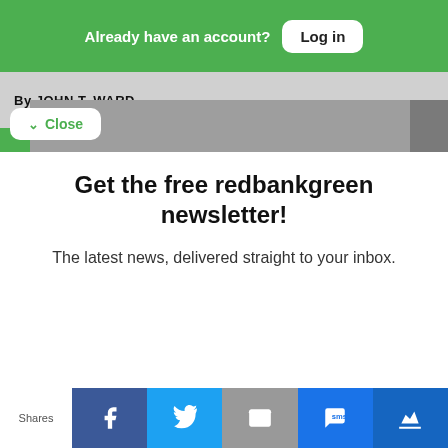Already have an account? Log in
By JOHN T. WARD
Close
Get the free redbankgreen newsletter!
The latest news, delivered straight to your inbox.
Free Newsletters 1
Daily Newsletter
Latest news and updates
Shares